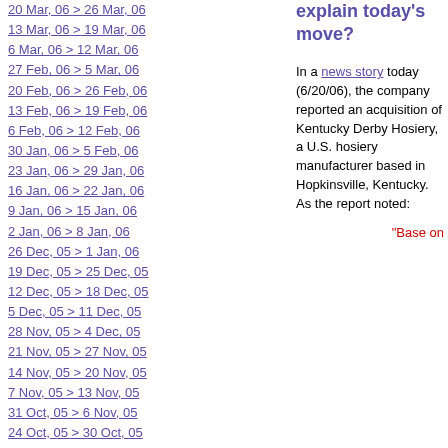20 Mar, 06 > 26 Mar, 06
13 Mar, 06 > 19 Mar, 06
6 Mar, 06 > 12 Mar, 06
27 Feb, 06 > 5 Mar, 06
20 Feb, 06 > 26 Feb, 06
13 Feb, 06 > 19 Feb, 06
6 Feb, 06 > 12 Feb, 06
30 Jan, 06 > 5 Feb, 06
23 Jan, 06 > 29 Jan, 06
16 Jan, 06 > 22 Jan, 06
9 Jan, 06 > 15 Jan, 06
2 Jan, 06 > 8 Jan, 06
26 Dec, 05 > 1 Jan, 06
19 Dec, 05 > 25 Dec, 05
12 Dec, 05 > 18 Dec, 05
5 Dec, 05 > 11 Dec, 05
28 Nov, 05 > 4 Dec, 05
21 Nov, 05 > 27 Nov, 05
14 Nov, 05 > 20 Nov, 05
7 Nov, 05 > 13 Nov, 05
31 Oct, 05 > 6 Nov, 05
24 Oct, 05 > 30 Oct, 05
17 Oct, 05 > 23 Oct, 05
10 Oct, 05 > 16 Oct, 05
3 Oct, 05 > 9 Oct, 05
26 Sep, 05 > 2 Oct, 05
19 Sep, 05 > 25 Sep, 05
12 Sep, 05 > 18 Sep, 05
explain today's move?
In a news story today (6/20/06), the company reported an acquisition of Kentucky Derby Hosiery, a U.S. hosiery manufacturer based in Hopkinsville, Kentucky. As the report noted:
"Base on